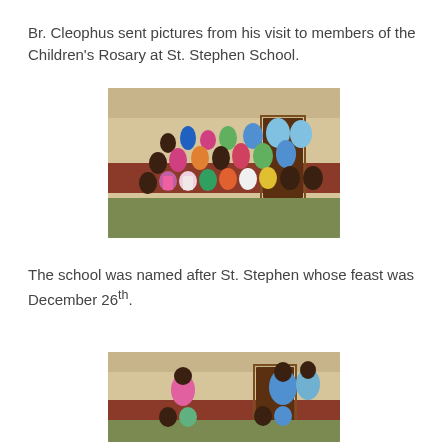Br. Cleophus sent pictures from his visit to members of the Children's Rosary at St. Stephen School.
[Figure (photo): Group photo of children and adults gathered outside a building at St. Stephen School, many wearing colorful clothing and traditional wraps.]
The school was named after St. Stephen whose feast was December 26th.
[Figure (photo): Partial photo showing a smaller group of people including a man in a pink shirt and women in traditional blue wraps, standing outside the same building.]